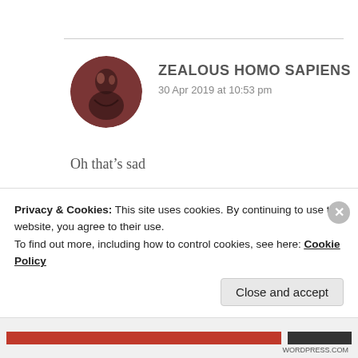ZEALOUS HOMO SAPIENS
30 Apr 2019 at 10:53 pm
Oh that’s sad
★ Like
Privacy & Cookies: This site uses cookies. By continuing to use this website, you agree to their use.
To find out more, including how to control cookies, see here: Cookie Policy
Close and accept